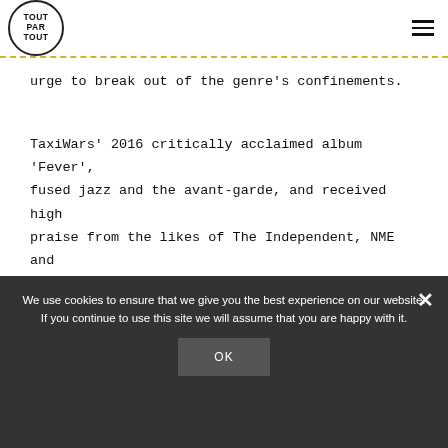TOUT PAR TOUT
urge to break out of the genre's confinements.
TaxiWars' 2016 critically acclaimed album 'Fever', fused jazz and the avant-garde, and received high praise from the likes of The Independent, NME and Drowned in Sound.
We use cookies to ensure that we give you the best experience on our website. If you continue to use this site we will assume that you are happy with it.